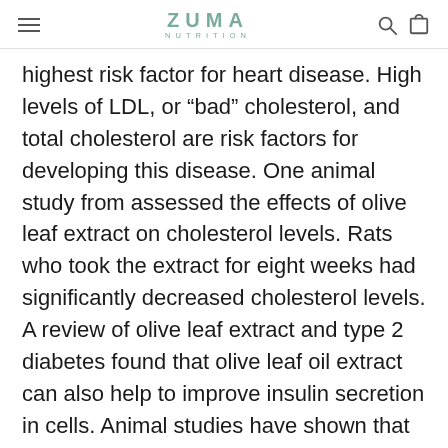ZUMA NUTRITION
highest risk factor for heart disease. High levels of LDL, or "bad" cholesterol, and total cholesterol are risk factors for developing this disease. One animal study from assessed the effects of olive leaf extract on cholesterol levels. Rats who took the extract for eight weeks had significantly decreased cholesterol levels.
A review of olive leaf extract and type 2 diabetes found that olive leaf oil extract can also help to improve insulin secretion in cells. Animal studies have shown that olive leaf extract may reduce hyperglycemia (high blood sugar) and